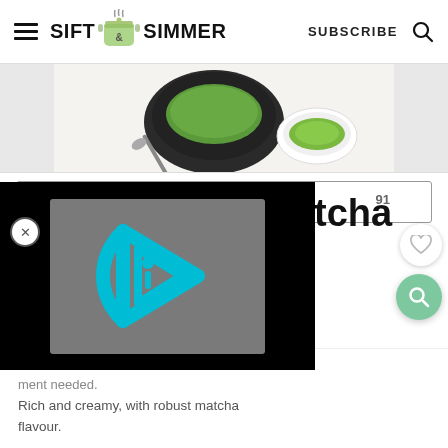SIFT & SIMMER — SUBSCRIBE
[Figure (photo): Overhead photo of matcha powder in a dark bowl with a small white dish of matcha powder]
Print Recipe
★★★★★
5 from 19 votes
[Figure (screenshot): Video player overlay showing a cyan/blue play button icon (Ivsion-style logo) on a gray background, surrounded by black letterbox bars]
tcha
91
Matcha Ice
ment needed.
Rich and creamy, with robust matcha flavour.